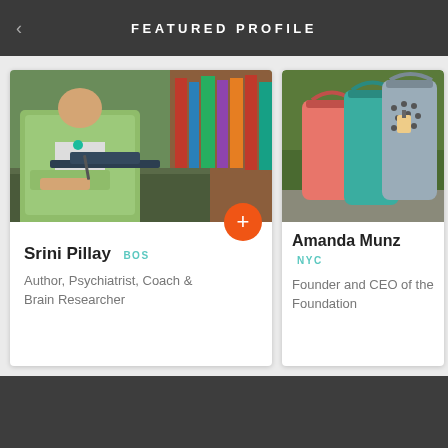FEATURED PROFILE
[Figure (photo): Left profile card photo: person in light green jacket at a desk with books and objects]
Srini Pillay BOS
Author, Psychiatrist, Coach & Brain Researcher
[Figure (photo): Right profile card photo: colorful handbags (pink, teal, grey) being carried]
Amanda Munz NYC
Founder and CEO of the Foundation
CONTACT US